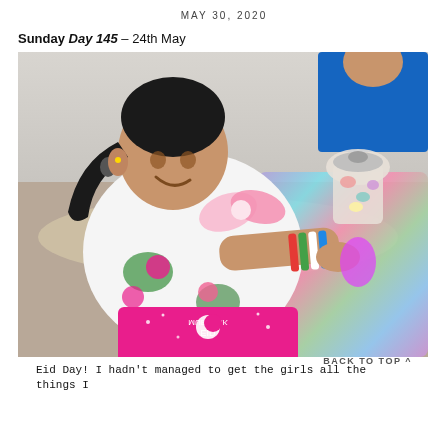MAY 30, 2020
Sunday Day 145 – 24th May
[Figure (photo): A young girl in a white floral dress with pink and green flowers, wearing colorful bangles, opening Eid gifts at a table. A pink 'Eid Mubarak' bag is visible at the bottom, along with iridescent holographic wrapping and a candy jar. Another person in a blue jacket is partially visible in the background.]
Eid Day! I hadn't managed to get the girls all the things I